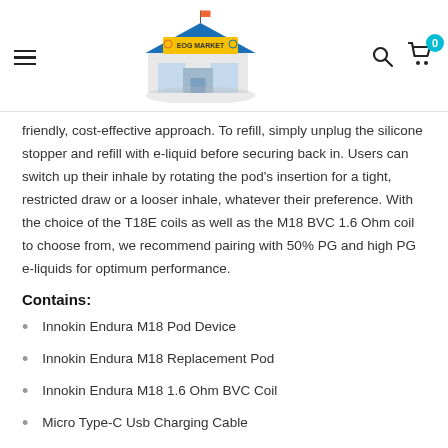EOG Market logo, hamburger menu, search icon, cart with badge 0
friendly, cost-effective approach. To refill, simply unplug the silicone stopper and refill with e-liquid before securing back in. Users can switch up their inhale by rotating the pod's insertion for a tight, restricted draw or a looser inhale, whatever their preference. With the choice of the T18E coils as well as the M18 BVC 1.6 Ohm coil to choose from, we recommend pairing with 50% PG and high PG e-liquids for optimum performance.
Contains:
Innokin Endura M18 Pod Device
Innokin Endura M18 Replacement Pod
Innokin Endura M18 1.6 Ohm BVC Coil
Micro Type-C Usb Charging Cable